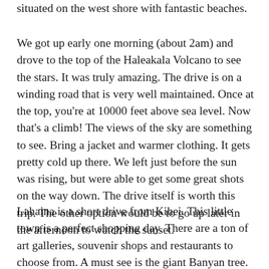situated on the west shore with fantastic beaches.
We got up early one morning (about 2am) and drove to the top of the Haleakala Volcano to see the stars. It was truly amazing. The drive is on a winding road that is very well maintained. Once at the top, you're at 10000 feet above sea level. Now that's a climb! The views of the sky are something to see. Bring a jacket and warmer clothing. It gets pretty cold up there. We left just before the sun was rising, but were able to get some great shots on the way down. The drive itself is worth this trip. The other option would be to go up later in the afternoon to watch the sunset.
Lahaina is a short drive from Kihei. This little town is a perfect shopping day. There are a ton of art galleries, souvenir shops and restaurants to choose from. A must see is the giant Banyan tree. This tree and it's